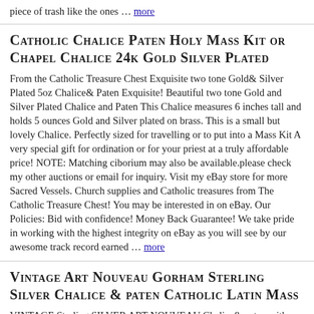piece of trash like the ones … more
CATHOLIC CHALICE PATEN HOLY MASS KIT or CHAPEL CHALICE 24K GOLD SILVER PLATED
From the Catholic Treasure Chest Exquisite two tone Gold& Silver Plated 5oz Chalice& Paten Exquisite! Beautiful two tone Gold and Silver Plated Chalice and Paten This Chalice measures 6 inches tall and holds 5 ounces Gold and Silver plated on brass. This is a small but lovely Chalice. Perfectly sized for travelling or to put into a Mass Kit A very special gift for ordination or for your priest at a truly affordable price! NOTE: Matching ciborium may also be available.please check my other auctions or email for inquiry. Visit my eBay store for more Sacred Vessels. Church supplies and Catholic treasures from The Catholic Treasure Chest! You may be interested in on eBay. Our Policies: Bid with confidence! Money Back Guarantee! We take pride in working with the highest integrity on eBay as you will see by our awesome track record earned … more
VINTAGE Art Nouveau Gorham STERLING SILVER Chalice & paten CATHOLIC Latin Mass
VINTAGE Sterling SILVER ART NOUVEAU Chalice& paten with case. On offer for sale is a very nice Vintage solid sterling silver chalice& paten with gilt overall. This is in the Art Nouveau style. The node is hand chased as is the cross on the base. The silver is HEAVY weight and solid. Comes with a NEW red velvet lined carrying case and velvet pouches. It was made by Gorham. At the turn of the 20th century there were 3 major high quality silver makers in the U.S. Tiffany in New York